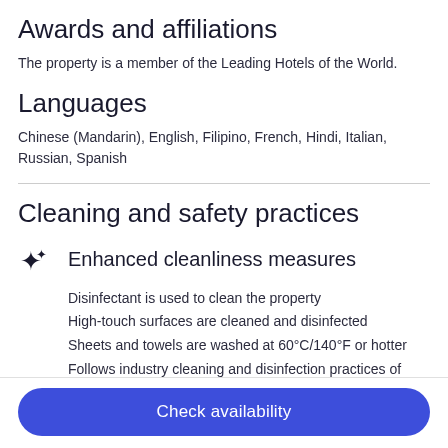Awards and affiliations
The property is a member of the Leading Hotels of the World.
Languages
Chinese (Mandarin), English, Filipino, French, Hindi, Italian, Russian, Spanish
Cleaning and safety practices
Enhanced cleanliness measures
Disinfectant is used to clean the property
High-touch surfaces are cleaned and disinfected
Sheets and towels are washed at 60°C/140°F or hotter
Follows industry cleaning and disinfection practices of Safe Travel (WTTC- Global)
Check availability